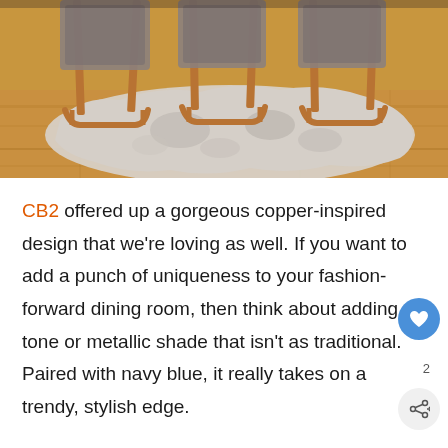[Figure (photo): Photo of a dining area showing chairs with copper/bronze metal frames positioned around a cowhide rug on a light wood floor. The rug is grey and white patterned. The chairs have a sleek metal sled base in a copper/rose gold tone.]
CB2 offered up a gorgeous copper-inspired design that we're loving as well. If you want to add a punch of uniqueness to your fashion-forward dining room, then think about adding a tone or metallic shade that isn't as traditional. Paired with navy blue, it really takes on a trendy, stylish edge.